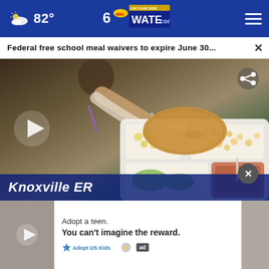82° WATE.com
Federal free school meal waivers to expire June 30... ×
[Figure (screenshot): Video thumbnail showing a child eating from a divided school lunch tray with food items including a breaded patty, macaroni, apple slices, and a drink container. A play button is overlaid on the left side and a share icon on the upper right.]
Knoxville ER
[Figure (screenshot): Advertisement banner: small video thumbnail on left with play button, text 'Adopt a teen. You can't imagine the reward.' with Adopt US Kids and ad logos on right.]